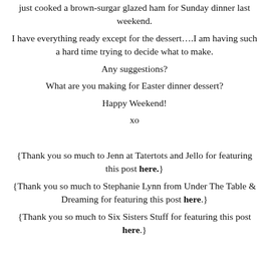just cooked a brown-surgar glazed ham for Sunday dinner last weekend.
I have everything ready except for the dessert….I am having such a hard time trying to decide what to make.
Any suggestions?
What are you making for Easter dinner dessert?
Happy Weekend!
xo
{Thank you so much to Jenn at Tatertots and Jello for featuring this post here.}
{Thank you so much to Stephanie Lynn from Under The Table & Dreaming for featuring this post here.}
{Thank you so much to Six Sisters Stuff for featuring this post here.}